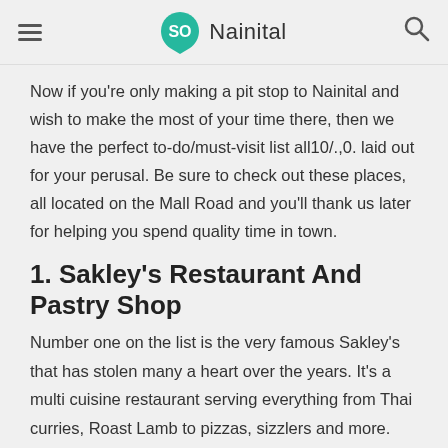SO Nainital
Now if you're only making a pit stop to Nainital and wish to make the most of your time there, then we have the perfect to-do/must-visit list all10/.,0. laid out for your perusal. Be sure to check out these places, all located on the Mall Road and you'll thank us later for helping you spend quality time in town.
1. Sakley's Restaurant And Pastry Shop
Number one on the list is the very famous Sakley's that has stolen many a heart over the years. It's a multi cuisine restaurant serving everything from Thai curries, Roast Lamb to pizzas, sizzlers and more. But DO NOT miss their freshly baked cakes and pastries which...